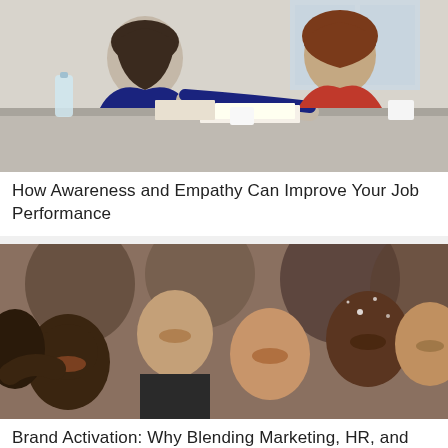[Figure (photo): Two women sitting across a table in a meeting/interview setting. One woman in blue reaches across the table with papers, the other in red listens. A water bottle and coffee cups are visible on the table.]
How Awareness and Empathy Can Improve Your Job Performance
[Figure (photo): A diverse group of smiling young people gathered closely together for a selfie-style photo, some pointing at the camera.]
Brand Activation: Why Blending Marketing, HR, and Empathy Is...